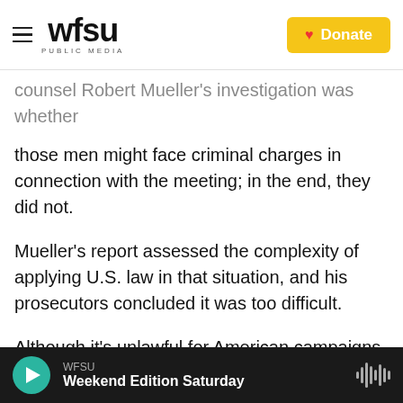WFSU PUBLIC MEDIA | Donate
counsel Robert Mueller's investigation was whether those men might face criminal charges in connection with the meeting; in the end, they did not.
Mueller's report assessed the complexity of applying U.S. law in that situation, and his prosecutors concluded it was too difficult.
Although it's unlawful for American campaigns to accept a "thing of value" from foreigners, assessing what that means is complex. And Mueller's analysis also concluded that people involved must know they're breaking the law in order to face
WFSU | Weekend Edition Saturday